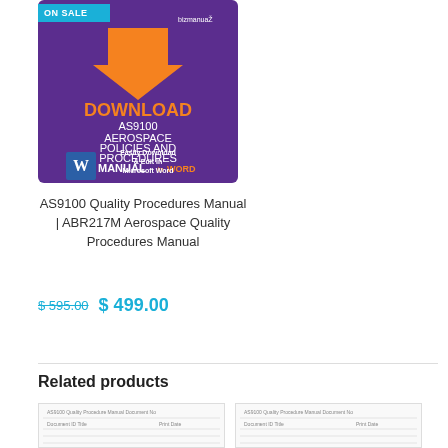[Figure (illustration): Product cover image for AS9100 Aerospace Policies and Procedures Manual in Word. Purple background with orange download arrow, bizmanuaz logo, Word icon, and text 'Easily Download & Edit in Microsoft Word'. ON SALE badge in cyan.]
AS9100 Quality Procedures Manual | ABR217M Aerospace Quality Procedures Manual
$ 595.00  $ 499.00
Related products
[Figure (screenshot): Thumbnail of a related product document page - appears to be a form/table document]
[Figure (screenshot): Thumbnail of a second related product document page - appears to be a form/table document]